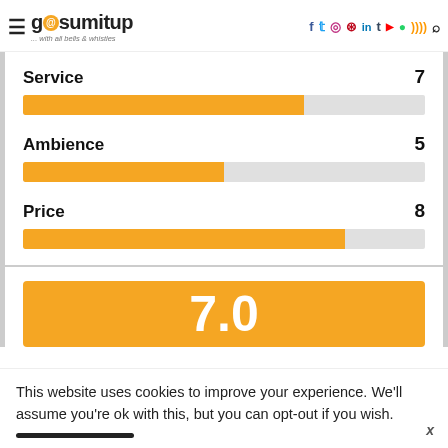gosumitup ... with all bells & whistles
[Figure (bar-chart): Ratings]
[Figure (infographic): Orange score box showing 7.0]
This website uses cookies to improve your experience. We'll assume you're ok with this, but you can opt-out if you wish.